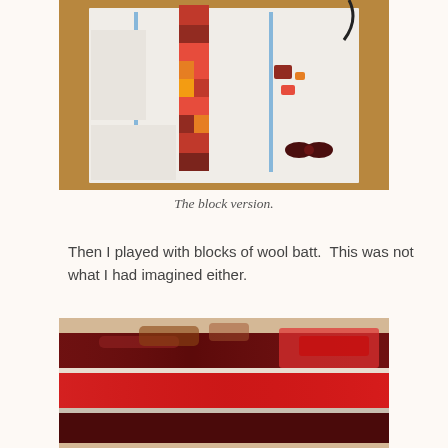[Figure (photo): A top-down view of a craft project layout on a wooden floor, showing white fabric/paper pieces arranged with colorful red, orange, and yellow fabric blocks in a column pattern on a white background, with a dark bow accent piece.]
The block version.
Then I played with blocks of wool batt.  This was not what I had imagined either.
[Figure (photo): A close-up blurred photo of layered wool batt in dark maroon, red, and lighter red/orange colors laid out in strips on a light surface.]